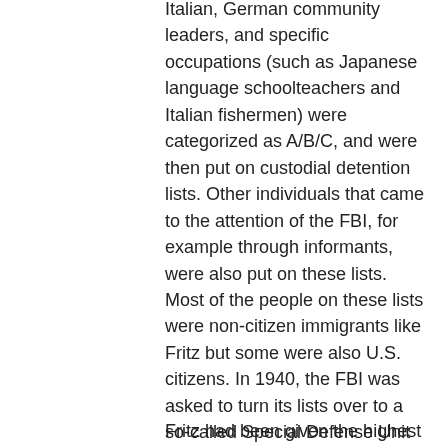Italian, German community leaders, and specific occupations (such as Japanese language schoolteachers and Italian fishermen) were categorized as A/B/C, and were then put on custodial detention lists. Other individuals that came to the attention of the FBI, for example through informants, were also put on these lists. Most of the people on these lists were non-citizen immigrants like Fritz but some were also U.S. citizens. In 1940, the FBI was asked to turn its lists over to a so-called Special Defense Unit (SDU) and to have this organisation classify and monitor all suspect individuals, but the FBI also kept its own secret lists. Fritz was on one of these and as a result of this on October 28, 1941, FBI Director J. Edgar Hoover sent a dossier on Fritz to the SDU. The recommendation was that he be detained in the event of war.¹
Fritz had been given the highest A-2...